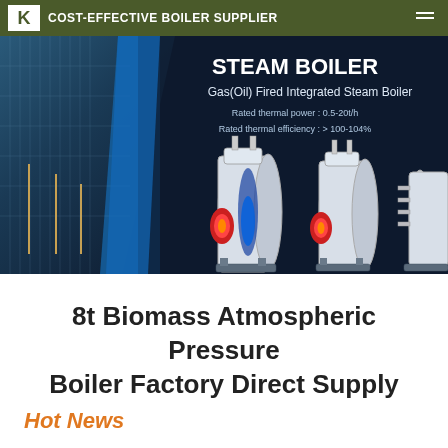COST-EFFECTIVE BOILER SUPPLIER
[Figure (photo): Banner image showing steam boilers (Gas(Oil) Fired Integrated Steam Boiler) with industrial building background. Text overlay: STEAM BOILER, Gas(Oil) Fired Integrated Steam Boiler, Rated thermal power: 0.5-20t/h, Rated thermal efficiency: > 100-104%]
8t Biomass Atmospheric Pressure Boiler Factory Direct Supply
Hot News